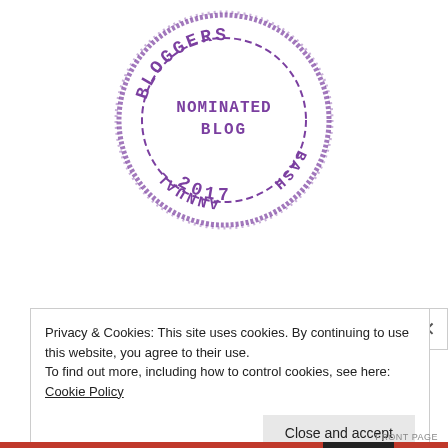[Figure (logo): Circular stamp logo in purple: 'ANNUAL BLOGGERS BASH 2017 NOMINATED BLOG' arranged in a circular stamp design with dashed inner circle]
Privacy & Cookies: This site uses cookies. By continuing to use this website, you agree to their use.
To find out more, including how to control cookies, see here: Cookie Policy
Close and accept